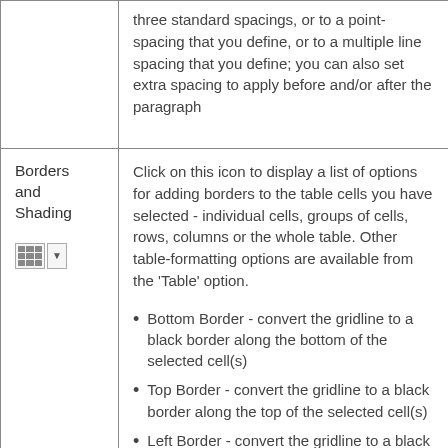|  | three standard spacings, or to a point-spacing that you define, or to a multiple line spacing that you define; you can also set extra spacing to apply before and/or after the paragraph |
| Borders and Shading [icon] | Click on this icon to display a list of options for adding borders to the table cells you have selected - individual cells, groups of cells, rows, columns or the whole table. Other table-formatting options are available from the 'Table' option.

• Bottom Border - convert the gridline to a black border along the bottom of the selected cell(s)
• Top Border - convert the gridline to a black border along the top of the selected cell(s)
• Left Border - convert the gridline to a black border along the left edge of the selected cell(s) |